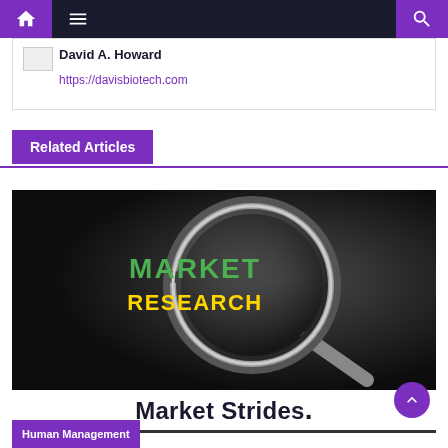Navigation bar with home, menu, and search icons
David A. Howard
https://davisbiotech.com
Related Articles
[Figure (illustration): Market research image showing a magnifying glass with MARKET RESEARCH text in green and yellow on a dark background, with Market Strides. logo text below]
Human Management